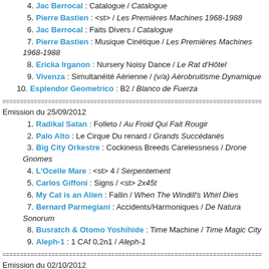4. Jac Berrocal : Catalogue / Catalogue
5. Pierre Bastien : <st> / Les Premières Machines 1968-1988
6. Jac Berrocal : Faits Divers / Catalogue
7. Pierre Bastien : Musique Cinétique / Les Premières Machines 1968-1988
8. Ericka Irganon : Nursery Noisy Dance / Le Rat d'Hôtel
9. Vivenza : Simultanéité Aérienne / (v/a) Aérobruitisme Dynamique
10. Esplendor Geometrico : B2 / Blanco de Fuerza
Emission du 25/09/2012
1. Radikal Satan : Folleto / Au Froid Qui Fait Rougir
2. Palo Alto : Le Cirque Du renard / Grands Succédanés
3. Big City Orkestre : Cockiness Breeds Carelessness / Drone Gnomes
4. L'Ocelle Mare : <st> 4 / Serpentement
5. Carlos Giffoni : Signs / <st> 2x45t
6. My Cat is an Alien : Fallin / When The Windill's Whirl Dies
7. Bernard Parmegiani : Accidents/Harmoniques / De Natura Sonorum
8. Busratch & Otomo Yoshihide : Time Machine / Time Magic City
9. Aleph-1 : 1 CAf 0,2n1 / Aleph-1
Emission du 02/10/2012
1. Zone Libre : Avant d'En Finir Avec les Actualités / Faites Vibrer la Chair
2. Les Rallizes Dénudés : People Can Choose / Heavier Than a Death in the R...